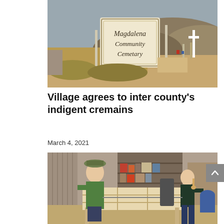[Figure (photo): Magdalena Community Cemetery sign in a desert setting with hills in the background and crosses visible]
Village agrees to inter county's indigent cremains
March 4, 2021
[Figure (photo): Two people working in a workshop, appearing to be building or assembling a wooden box or casket on a workbench]